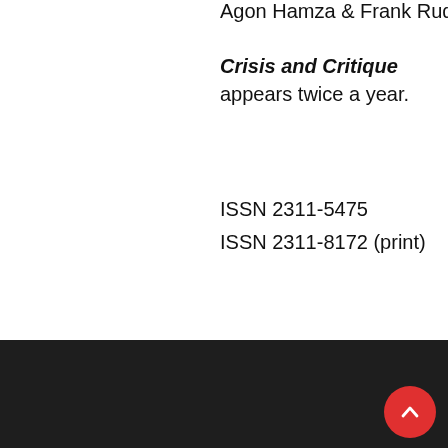Agon Hamza & Frank Ruda
Crisis and Critique appears twice a year.
ISSN 2311-5475
ISSN 2311-8172 (print)
Development SAP_